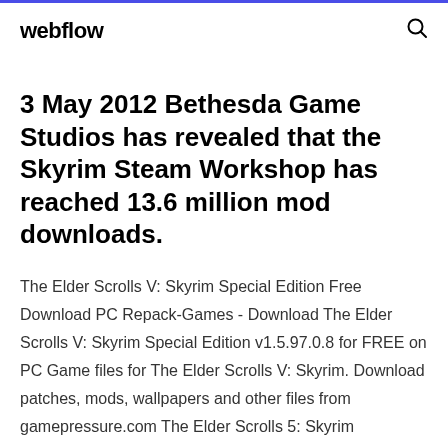webflow
3 May 2012 Bethesda Game Studios has revealed that the Skyrim Steam Workshop has reached 13.6 million mod downloads.
The Elder Scrolls V: Skyrim Special Edition Free Download PC Repack-Games - Download The Elder Scrolls V: Skyrim Special Edition v1.5.97.0.8 for FREE on PC Game files for The Elder Scrolls V: Skyrim. Download patches, mods, wallpapers and other files from gamepressure.com The Elder Scrolls 5: Skyrim